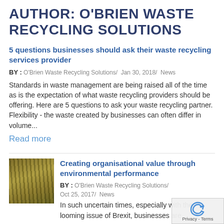AUTHOR: O'BRIEN WASTE RECYCLING SOLUTIONS
5 questions businesses should ask their waste recycling services provider
BY: O'Brien Waste Recycling Solutions/ Jan 30, 2018/ News
Standards in waste management are being raised all of the time as is the expectation of what waste recycling providers should be offering. Here are 5 questions to ask your waste recycling partner. Flexibility - the waste created by businesses can often differ in volume...
Read more
[Figure (photo): Thumbnail image showing golden/yellow vertical streaks, likely industrial or environmental material]
Creating organisational value through environmental performance
BY: O'Brien Waste Recycling Solutions/
Oct 25, 2017/ News
In such uncertain times, especially with the looming issue of Brexit, businesses are